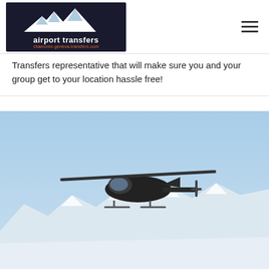airport transfers — chamonix-geneva-transfers.com
Transfers representative that will make sure you and your group get to your location hassle free!
[Figure (photo): A dark helicopter flying over snow-capped mountain peaks against a clear blue sky.]